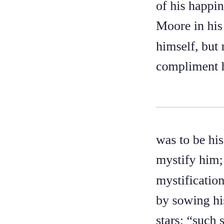of his happiness. Moore in his L himself, but rak compliment he
was to be his b mystify him; in mystification, ar by sowing his stars; "such star